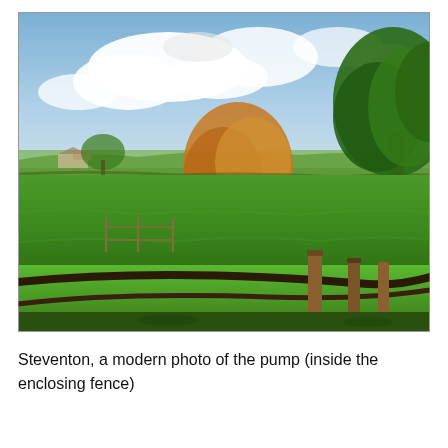[Figure (photo): A rural English countryside scene. Green pasture fields spread across the middle ground with trees in autumn foliage — a large brown-leaved tree in the centre and a large green-leafed tree on the right. A wooden fence/stile is visible in the foreground. Farm buildings are faintly visible in the far background on the left. The sky is blue with white clouds. This is described as a modern photo of a pump inside an enclosing fence at Steventon.]
Steventon, a modern photo of the pump (inside the enclosing fence)